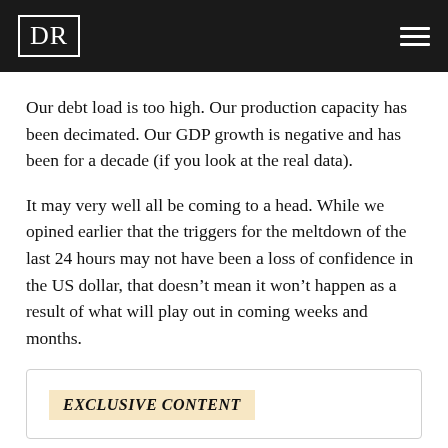DR
Our debt load is too high. Our production capacity has been decimated. Our GDP growth is negative and has been for a decade (if you look at the real data).
It may very well all be coming to a head. While we opined earlier that the triggers for the meltdown of the last 24 hours may not have been a loss of confidence in the US dollar, that doesn't mean it won't happen as a result of what will play out in coming weeks and months.
EXCLUSIVE CONTENT